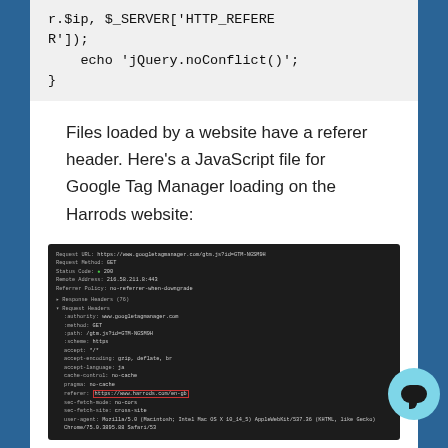r.$ip, $_SERVER['HTTP_REFERER']);
    echo 'jQuery.noConflict()';
}
Files loaded by a website have a referer header. Here's a JavaScript file for Google Tag Manager loading on the Harrods website:
[Figure (screenshot): Browser developer tools network request panel showing a request for a Google Tag Manager JS file. The request headers section is expanded showing authority, method, path, scheme, accept, accept-encoding, accept-language, cache-control, pragma fields. The referrer field 'https://www.harrods.com/en-gb' is highlighted with a red box. Status code 200.]
If the file is loaded directly in the browser